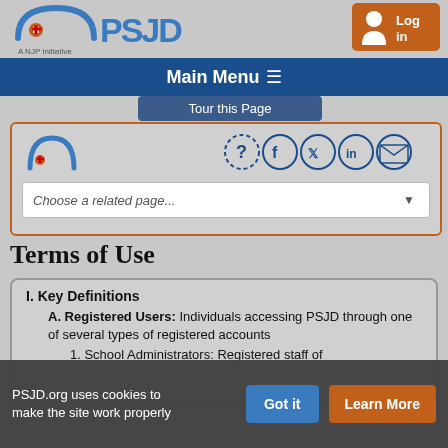[Figure (logo): PSJD logo with arc/umbrella icon and text 'A NJP Initiative' below]
[Figure (screenshot): Login button with person icon showing 'Log in']
Main Menu
Tour this Page
[Figure (logo): PSJD small logo in orange-bordered panel with social media icons (help, facebook, twitter, linkedin, email) and Choose a related page dropdown]
Terms of Use
I. Key Definitions
A. Registered Users: Individuals accessing PSJD through one of several types of registered accounts
1. School Administrators: Registered staff of
PSJD.org uses cookies to make the site work properly